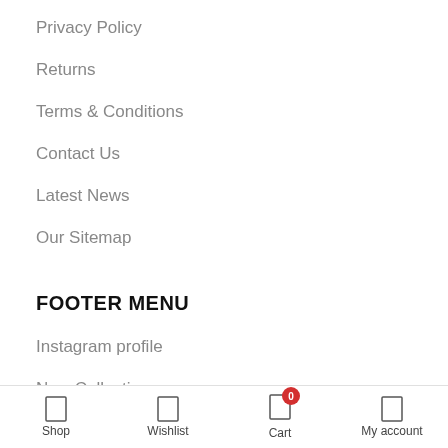Privacy Policy
Returns
Terms & Conditions
Contact Us
Latest News
Our Sitemap
FOOTER MENU
Instagram profile
New Collection
Woman Dress
Contact Us
Shop  Wishlist  Cart  My account